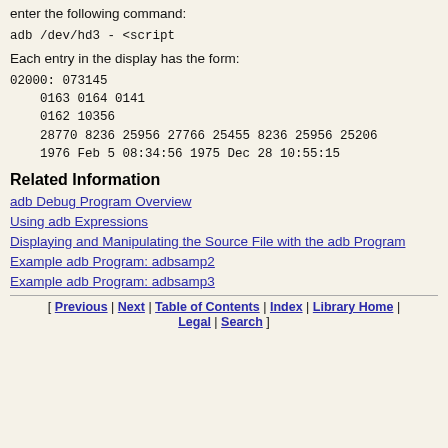enter the following command:
adb /dev/hd3 - <script
Each entry in the display has the form:
02000: 073145
    0163 0164 0141
    0162 10356
    28770 8236 25956 27766 25455 8236 25956 25206
    1976 Feb 5 08:34:56 1975 Dec 28 10:55:15
Related Information
adb Debug Program Overview
Using adb Expressions
Displaying and Manipulating the Source File with the adb Program
Example adb Program: adbsamp2
Example adb Program: adbsamp3
[ Previous | Next | Table of Contents | Index | Library Home | Legal | Search ]